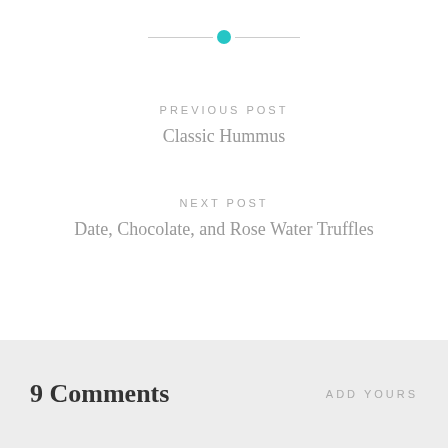[Figure (other): Decorative divider with a teal/cyan circle dot centered between two thin gray lines]
PREVIOUS POST
Classic Hummus
NEXT POST
Date, Chocolate, and Rose Water Truffles
9 Comments
ADD YOURS